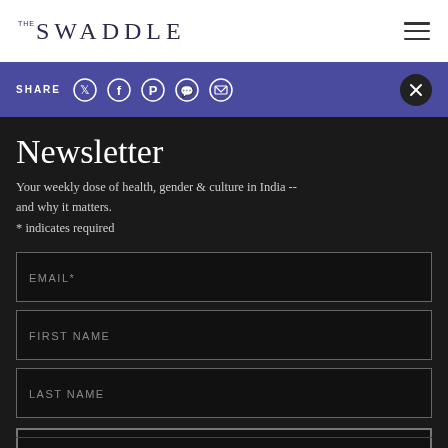THE SWADDLE
SHARE
Newsletter
Your weekly dose of health, gender & culture in India -- and why it matters.
* indicates required
EMAIL*
FIRST NAME
LAST NAME
SIGN UP